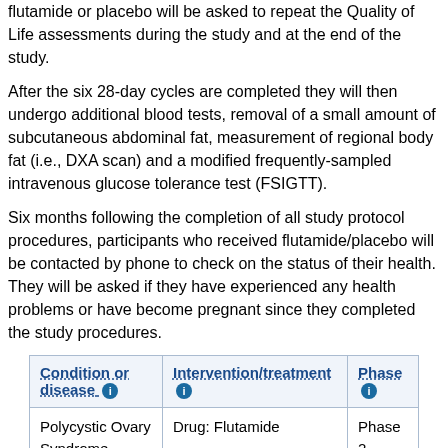flutamide or placebo will be asked to repeat the Quality of Life assessments during the study and at the end of the study.
After the six 28-day cycles are completed they will then undergo additional blood tests, removal of a small amount of subcutaneous abdominal fat, measurement of regional body fat (i.e., DXA scan) and a modified frequently-sampled intravenous glucose tolerance test (FSIGTT).
Six months following the completion of all study protocol procedures, participants who received flutamide/placebo will be contacted by phone to check on the status of their health. They will be asked if they have experienced any health problems or have become pregnant since they completed the study procedures.
| Condition or disease | Intervention/treatment | Phase |
| --- | --- | --- |
| Polycystic Ovary Syndrome (PCOS) | Drug: Flutamide
Other: Placebo | Phase 2 |